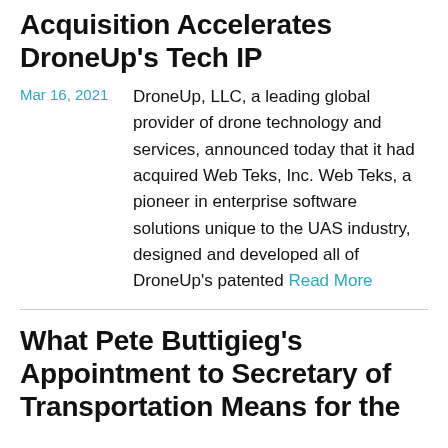Acquisition Accelerates DroneUp's Tech IP
Mar 16, 2021   DroneUp, LLC, a leading global provider of drone technology and services, announced today that it had acquired Web Teks, Inc. Web Teks, a pioneer in enterprise software solutions unique to the UAS industry, designed and developed all of DroneUp's patented Read More
What Pete Buttigieg's Appointment to Secretary of Transportation Means for the